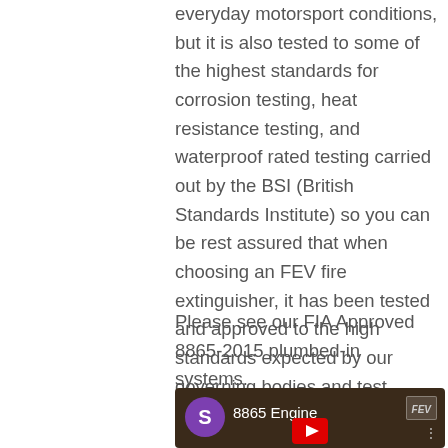everyday motorsport conditions, but it is also tested to some of the highest standards for corrosion testing, heat resistance testing, and waterproof rated testing carried out by the BSI (British Standards Institute) so you can be rest assured that when choosing an FEV fire extinguisher, it has been tested and approved to the high standards expected by our governing bodies and test houses.
Please see our FIA Approved 8865-2015 plumbed-in systems.
[Figure (screenshot): YouTube video thumbnail showing '8865 Engine' with a purple S avatar circle on the left, dark brownish background, FEV logo in top right corner, and a YouTube play button at the bottom center.]